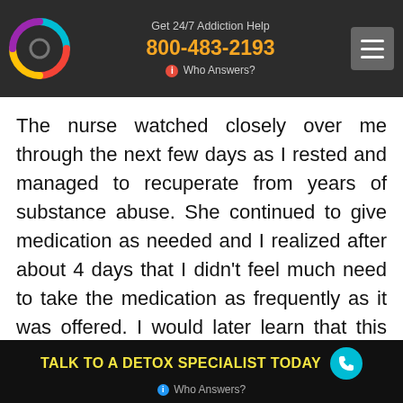Get 24/7 Addiction Help 800-483-2193 Who Answers?
The nurse watched closely over me through the next few days as I rested and managed to recuperate from years of substance abuse. She continued to give medication as needed and I realized after about 4 days that I didn't feel much need to take the medication as frequently as it was offered. I would later learn that this was a process of tapering the meds down so that I didn't find myself struggling to quit this new drug protocol which had the potential to
TALK TO A DETOX SPECIALIST TODAY   Who Answers?